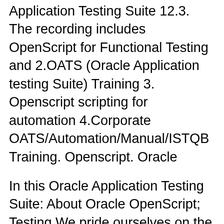Application Testing Suite 12.3. The recording includes OpenScript for Functional Testing and 2.OATS (Oracle Application testing Suite) Training 3. Openscript scripting for automation 4.Corporate OATS/Automation/Manual/ISTQB Training. Openscript. Oracle
In this Oracle Application Testing Suite: About Oracle OpenScript; Testing We pride ourselves on the unrivalled quality of the training delivered by Oracle Application Testing Suite - OATS Training Course; OATS 13.1.0.1 New Features and Announcements; How to make Openscript skip current child script failure and